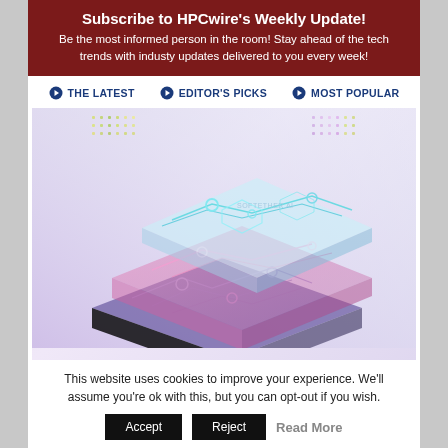Subscribe to HPCwire's Weekly Update!
Be the most informed person in the room! Stay ahead of the tech trends with industy updates delivered to you every week!
THE LATEST
EDITOR'S PICKS
MOST POPULAR
[Figure (illustration): 3D isometric illustration of layered circuit board / AI chip with colorful data streams rising from the top]
This website uses cookies to improve your experience. We'll assume you're ok with this, but you can opt-out if you wish.
Accept   Reject   Read More